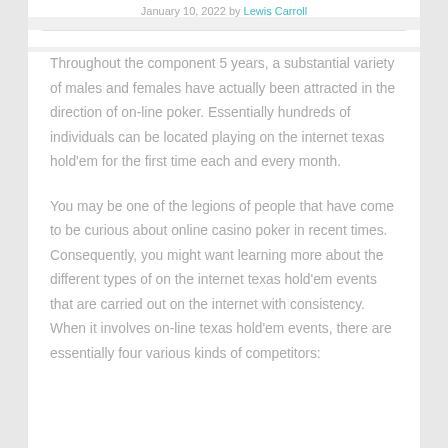January 10, 2022 by Lewis Carroll
Throughout the component 5 years, a substantial variety of males and females have actually been attracted in the direction of on-line poker. Essentially hundreds of individuals can be located playing on the internet texas hold’em for the first time each and every month.
You may be one of the legions of people that have come to be curious about online casino poker in recent times. Consequently, you might want learning more about the different types of on the internet texas hold’em events that are carried out on the internet with consistency. When it involves on-line texas hold’em events, there are essentially four various kinds of competitors: